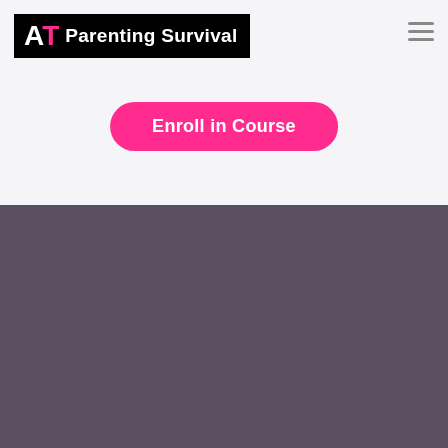[Figure (logo): AT Parenting Survival logo: black background with white 'A' and pink 'T' letters followed by white text 'Parenting Survival']
Enroll in Course
© AT Parenting Survival Online School 2022
Terms of Use
Privacy Policy
Copyright 2015-2021 Anxious Toddlers LLC